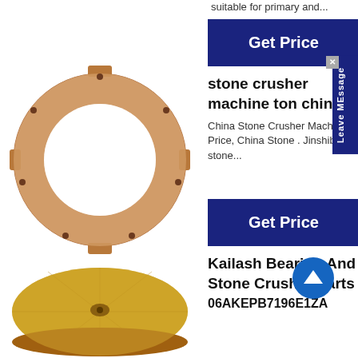suitable for primary and...
[Figure (other): Blue 'Get Price' button (dark navy background, white bold text)]
stone crusher machine ton china
China Stone Crusher Machine Price, China Stone . Jinshibao stone...
[Figure (other): Blue 'Get Price' button (dark navy background, white bold text)]
[Figure (photo): Copper/bronze ring-shaped crusher part with notches and bolt holes]
Kailash Bearing And Stone Crusher Parts
06AKEPB7196E1ZA
[Figure (photo): Gold/bronze disc-shaped stone crusher bearing part]